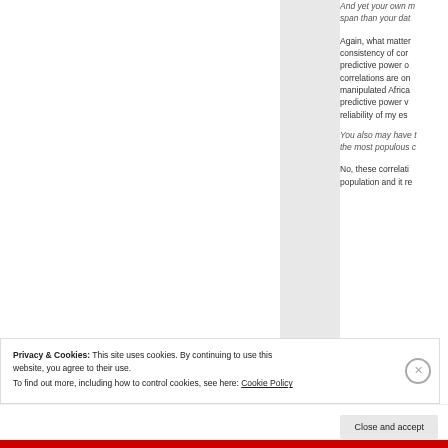And yet your own m span than your dat
Again, what matter consistency of cor predictive power c correlations are on manipulated Africa predictive power v reliability of my es
You also may have t the most populous c
No, these correlati population and it re
Privacy & Cookies: This site uses cookies. By continuing to use this website, you agree to their use. To find out more, including how to control cookies, see here: Cookie Policy
Close and accept